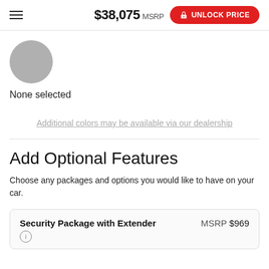$38,075 MSRP  UNLOCK PRICE
[Figure (illustration): Gray circle representing a color swatch placeholder]
None selected
Additional colors may be available via our dealership
Add Optional Features
Choose any packages and options you would like to have on your car.
Security Package with Extender  MSRP $969